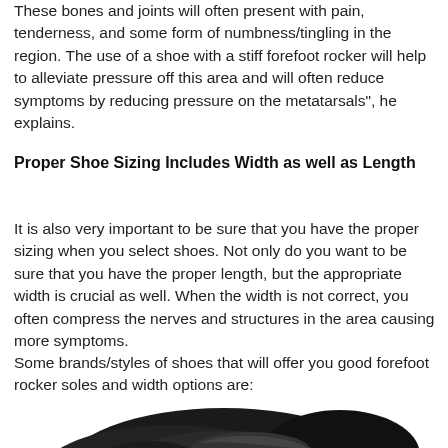These bones and joints will often present with pain, tenderness, and some form of numbness/tingling in the region. The use of a shoe with a stiff forefoot rocker will help to alleviate pressure off this area and will often reduce symptoms by reducing pressure on the metatarsals", he explains.
Proper Shoe Sizing Includes Width as well as Length
It is also very important to be sure that you have the proper sizing when you select shoes. Not only do you want to be sure that you have the proper length, but the appropriate width is crucial as well. When the width is not correct, you often compress the nerves and structures in the area causing more symptoms.
Some brands/styles of shoes that will offer you good forefoot rocker soles and width options are:
[Figure (photo): A black athletic/walking shoe with laces, partially visible at the bottom of the page, showing the forefoot rocker sole design.]